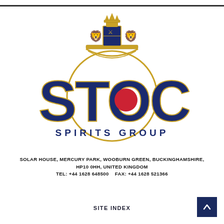[Figure (logo): Stock Spirits Group logo: large dark navy blue letters spelling STOCK with a gold crest/coat of arms above, a circular red dot in the O, and the text SPIRITS GROUP in navy letter-spaced capitals below]
SOLAR HOUSE, MERCURY PARK, WOOBURN GREEN, BUCKINGHAMSHIRE, HP10 0HH, UNITED KINGDOM  TEL:  +44 1628 648500    FAX:  +44 1628 521366
SITE INDEX